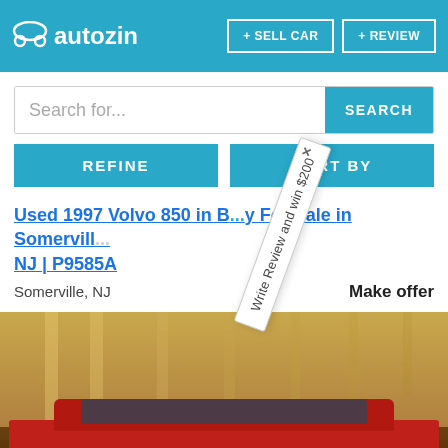autozin | + SELL CAR | + REVIEW
Search for...
SEARCH
REFINE
SORT BY
Used 1997 Volvo 850 in B...y For Sale in Somerville, NJ | P9585A
Somerville, NJ
Make offer
Write Review and win $200
[Figure (photo): Red Volvo 850 station wagon driving on a road, rear view, with motion blur background showing columns or pillars]